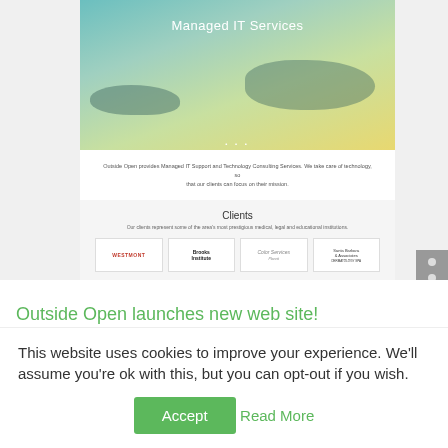[Figure (screenshot): Screenshot of a website for 'Managed IT Services' showing a hero image with ocean/islands, a description text band, and a Clients section with logos for Westmont, Brooks Institute, Color Services, and Santa Barbara & Associates.]
Outside Open launches new web site!
by Greg Lawler | Apr 7, 2014 | news
Outside Open has a new web site! Â As many
This website uses cookies to improve your experience. We'll assume you're ok with this, but you can opt-out if you wish.
Accept   Read More